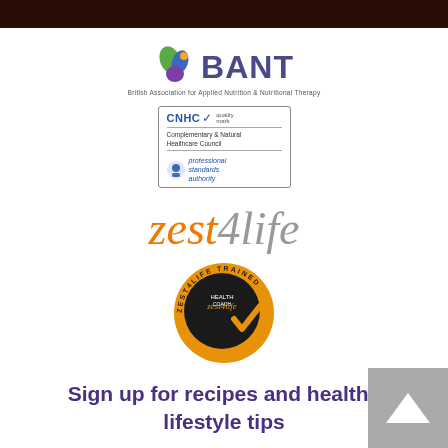[Figure (logo): BANT logo — British Association for Applied Nutrition & Nutritional Therapy, with colourful leaf/droplet icon]
[Figure (logo): CNHC (Complementary & Natural Healthcare Council) quality mark badge with Professional Standards Authority logo]
[Figure (logo): zest4life logo in orange and grey italic script]
[Figure (logo): Zest4life Health Coach trained badge — circular orange and dark badge with checkmark]
Sign up for recipes and healthy lifestyle tips
Name